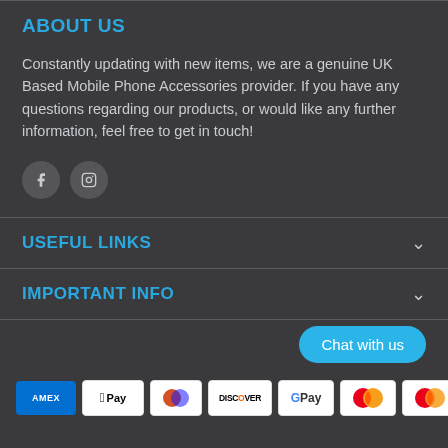ABOUT US
Constantly updating with new items, we are a genuine UK Based Mobile Phone Accessories provider. If you have any questions regarding our products, or would like any further information, feel free to get in touch!
[Figure (illustration): Facebook and Instagram social media icons (circular grey buttons)]
USEFUL LINKS
IMPORTANT INFO
[Figure (illustration): Chat with us button (blue rounded pill shape)]
[Figure (illustration): Payment method icons: Amex, Apple Pay, Diners Club, Discover, Google Pay, Mastercard (two variants)]